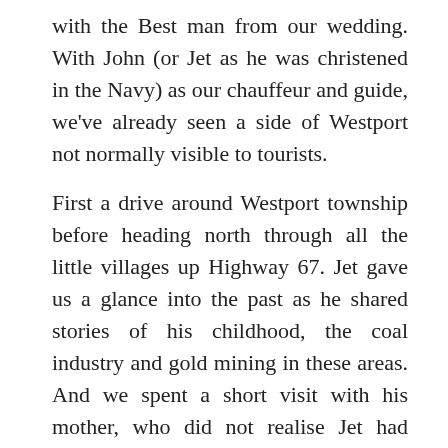with the Best man from our wedding. With John (or Jet as he was christened in the Navy) as our chauffeur and guide, we've already seen a side of Westport not normally visible to tourists.
First a drive around Westport township before heading north through all the little villages up Highway 67. Jet gave us a glance into the past as he shared stories of his childhood, the coal industry and gold mining in these areas. And we spent a short visit with his mother, who did not realise Jet had played a major role in our wedding.
Tomorrow we'll take a walk along the much touted Charming Creek Walkway, Jet showed us its start point and assured us it is THE must-do walk while in this area.
We visited a privately owned power station – I hadn't realised there was such a thing. The lay including software control and monitoring from water